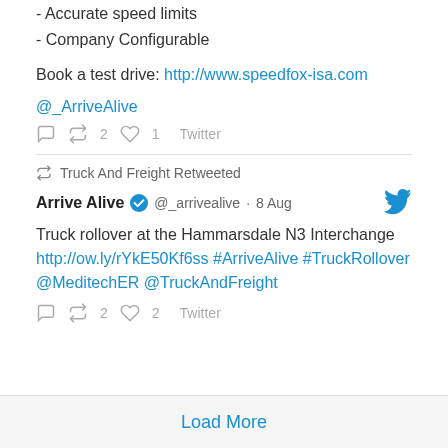- Accurate speed limits
- Company Configurable
Book a test drive: http://www.speedfox-isa.com
@_ArriveAlive
↩ 2  ♡ 1  Twitter
↩ Truck And Freight Retweeted
Arrive Alive ✔ @_arrivealive · 8 Aug
Truck rollover at the Hammarsdale N3 Interchange http://ow.ly/rYkE50Kf6ss #ArriveAlive #TruckRollover @MeditechER @TruckAndFreight
↩ 2  ♡ 2  Twitter
Load More